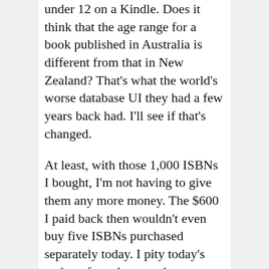under 12 on a Kindle. Does it think that the age range for a book published in Australia is different from that in New Zealand? That's what the world's worse database UI they had a few years back had. I'll see if that's changed.

At least, with those 1,000 ISBNs I bought, I'm not having to give them any more money. The $600 I paid back then wouldn't even buy five ISBNs purchased separately today. I pity today's authors forced to pay those robbery prices. Equally foul, large publishers who buy in